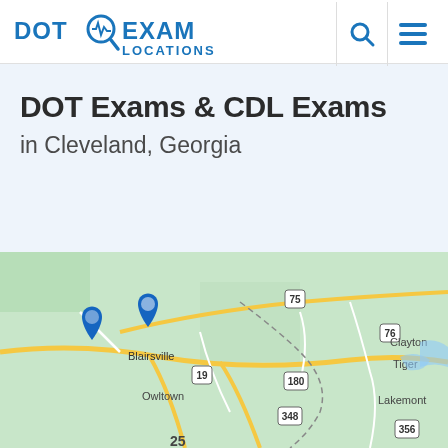DOT EXAM LOCATIONS
DOT Exams & CDL Exams in Cleveland, Georgia
[Figure (map): Google Maps view of the Cleveland, Georgia area showing location pins near Blairsville, GA with surrounding towns including Owltown, Clayton, Tiger, Lakemont, and roads including highways 19, 75, 76, 180, 197, 348, 356, and 25]